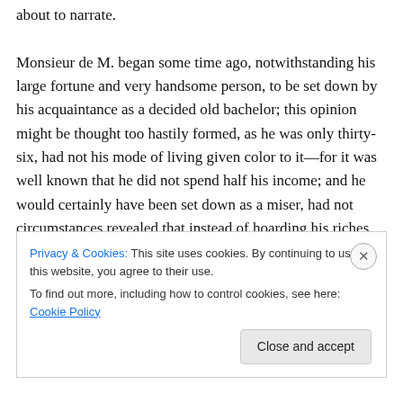about to narrate.

Monsieur de M. began some time ago, notwithstanding his large fortune and very handsome person, to be set down by his acquaintance as a decided old bachelor; this opinion might be thought too hastily formed, as he was only thirty-six, had not his mode of living given color to it—for it was well known that he did not spend half his income; and he would certainly have been set down as a miser, had not circumstances revealed that instead of hoarding his riches, he dispensed them in charity, but it was charity without ostentation. He mixed in the world
Privacy & Cookies: This site uses cookies. By continuing to use this website, you agree to their use.
To find out more, including how to control cookies, see here: Cookie Policy
Close and accept